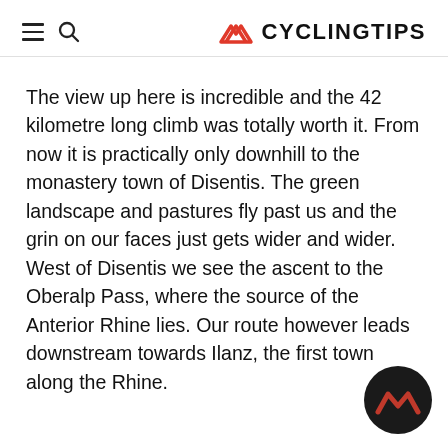CYCLINGTIPS
The view up here is incredible and the 42 kilometre long climb was totally worth it. From now it is practically only downhill to the monastery town of Disentis. The green landscape and pastures fly past us and the grin on our faces just gets wider and wider. West of Disentis we see the ascent to the Oberalp Pass, where the source of the Anterior Rhine lies. Our route however leads downstream towards Ilanz, the first town along the Rhine.
[Figure (logo): CyclingTips logo watermark circle with red mountain/chevron icon on black background]